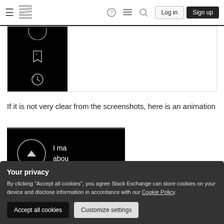Stack Exchange navigation bar with hamburger menu, logo, help, chat, search icons, Log in and Sign up buttons
[Figure (screenshot): Screenshot showing a dark/black UI panel with a circular icon at top, a bookmark icon, and a history/clock icon below, against a black background]
If it is not very clear from the screenshots, here is an animation
[Figure (screenshot): Animation screenshot showing a dark UI with a circular play/up-arrow button and partial text 'I ma...' and 'abou...' on the right]
Your privacy
By clicking "Accept all cookies", you agree Stack Exchange can store cookies on your device and disclose information in accordance with our Cookie Policy.
Accept all cookies
Customize settings